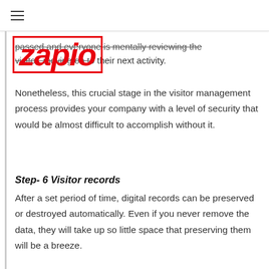≡
[Figure (logo): Zapio logo in red italic bold text with red border]
passed and everyone is mentally reviewing the visitor, moving on to their next activity.
Nonetheless, this crucial stage in the visitor management process provides your company with a level of security that would be almost difficult to accomplish without it.
Step- 6 Visitor records
After a set period of time, digital records can be preserved or destroyed automatically. Even if you never remove the data, they will take up so little space that preserving them will be a breeze.